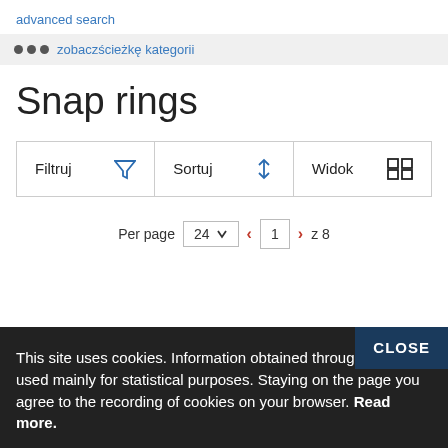advanced search
○○○  zobaczścieżkę kategorii
Snap rings
Filtruj | Sortuj | Widok
Per page 24 ∨  ‹  1  › z 8
This site uses cookies. Information obtained through c are used mainly for statistical purposes. Staying on the page you agree to the recording of cookies on your browser. Read more.